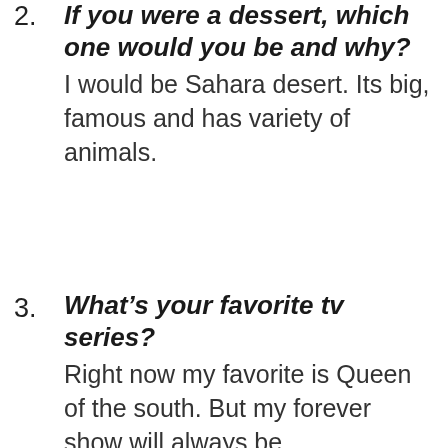2. If you were a dessert, which one would you be and why? I would be Sahara desert. Its big, famous and has variety of animals.
3. What’s your favorite tv series? Right now my favorite is Queen of the south. But my forever show will always be F.R.I.E.N.D.S.
4. Pick a waffle topping: nutella, cinnamon and sugar, maple syrup, fruit and icing sugar, ice cream.
Advertisements
[Figure (other): DuckDuckGo advertisement banner: orange background with text 'Search, browse, and email with more privacy. All in One Free App' and DuckDuckGo logo on dark right panel.]